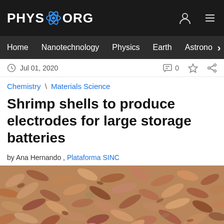PHYS.ORG
Home | Nanotechnology | Physics | Earth | Astronomy
Jul 01, 2020   0
Chemistry \ Materials Science
Shrimp shells to produce electrodes for large storage batteries
by Ana Hernando , Plataforma SINC
[Figure (photo): A large pile of dried shrimp shells, tan/brown colored, filling the entire frame]